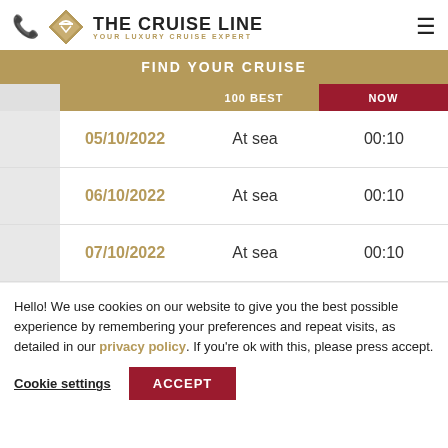THE CRUISE LINE | YOUR LUXURY CRUISE EXPERT
FIND YOUR CRUISE
|  | DATE | PORT | TIME |
| --- | --- | --- | --- |
|  | 05/10/2022 | At sea | 00:10 |
|  | 06/10/2022 | At sea | 00:10 |
|  | 07/10/2022 | At sea | 00:10 |
Hello! We use cookies on our website to give you the best possible experience by remembering your preferences and repeat visits, as detailed in our privacy policy. If you're ok with this, please press accept.
Cookie settings | ACCEPT